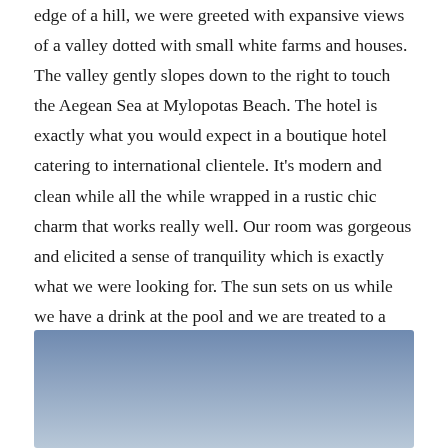edge of a hill, we were greeted with expansive views of a valley dotted with small white farms and houses. The valley gently slopes down to the right to touch the Aegean Sea at Mylopotas Beach. The hotel is exactly what you would expect in a boutique hotel catering to international clientele. It’s modern and clean while all the while wrapped in a rustic chic charm that works really well. Our room was gorgeous and elicited a sense of tranquility which is exactly what we were looking for. The sun sets on us while we have a drink at the pool and we are treated to a gorgeous view.
[Figure (photo): A photograph showing a blue sky scene, likely a view of the Aegean Sea or sky from the hotel pool area, with a gradient from deeper blue at top to lighter blue-grey lower.]